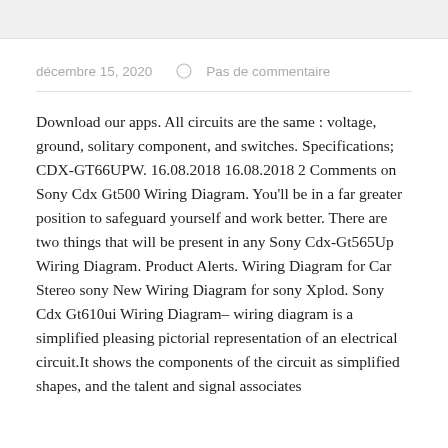décembre 15, 2020   Pas de commentaire
Download our apps. All circuits are the same : voltage, ground, solitary component, and switches. Specifications; CDX-GT66UPW. 16.08.2018 16.08.2018 2 Comments on Sony Cdx Gt500 Wiring Diagram. You'll be in a far greater position to safeguard yourself and work better. There are two things that will be present in any Sony Cdx-Gt565Up Wiring Diagram. Product Alerts. Wiring Diagram for Car Stereo sony New Wiring Diagram for sony Xplod. Sony Cdx Gt610ui Wiring Diagram– wiring diagram is a simplified pleasing pictorial representation of an electrical circuit.It shows the components of the circuit as simplified shapes, and the talent and signal associates